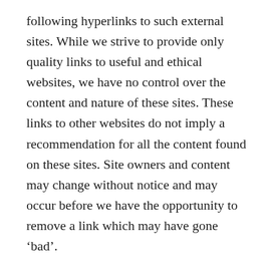following hyperlinks to such external sites. While we strive to provide only quality links to useful and ethical websites, we have no control over the content and nature of these sites. These links to other websites do not imply a recommendation for all the content found on these sites. Site owners and content may change without notice and may occur before we have the opportunity to remove a link which may have gone ‘bad’.
Please be also aware that when you leave our website, other sites may have different privacy policies and terms which are beyond our control. Please be sure to check the Privacy Policies of these sites as well as their “Terms of Service” before